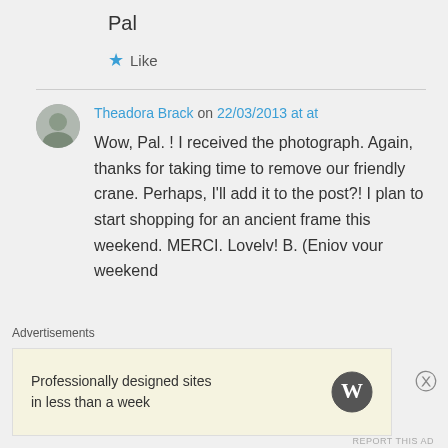Pal
Like
Theadora Brack on 22/03/2013 at at
Wow, Pal. ! I received the photograph. Again, thanks for taking time to remove our friendly crane. Perhaps, I'll add it to the post?! I plan to start shopping for an ancient frame this weekend. MERCI. Lovelv! B. (Eniov vour weekend
Advertisements
Professionally designed sites in less than a week